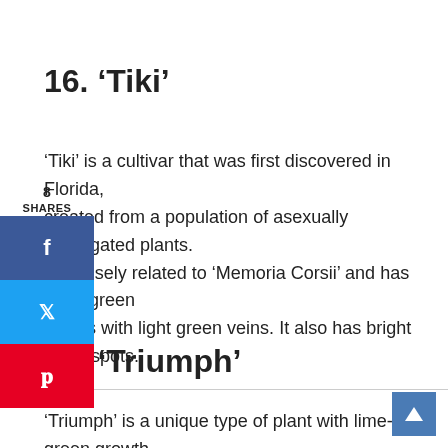16. ‘Tiki’
‘Tiki’ is a cultivar that was first discovered in Florida, created from a population of asexually propagated plants. It’s closely related to ‘Memoria Corsii’ and has deep green leaves with light green veins. It also has bright white spots.
17. ‘Triumph’
‘Triumph’ is a unique type of plant with lime-green growth. Each leaf has a vibrant dark green border and white veins right down the center.